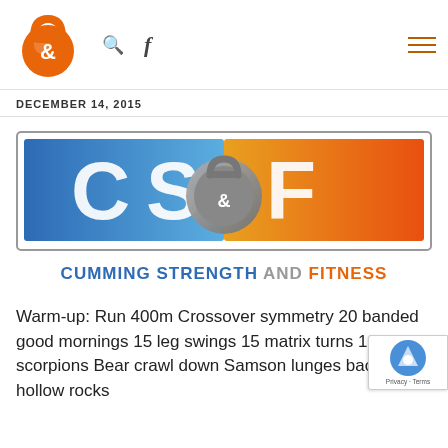[Figure (logo): Orange kettlebell logo with '&' symbol inside, navigation bar with search and Facebook icons, and hamburger menu lines in orange on the right]
DECEMBER 14, 2015
[Figure (logo): CS&F logo banner for Cumming Strength and Fitness - blue and orange gradient with kettlebell, text 'CUMMING STRENGTH AND FITNESS' below]
Warm-up: Run 400m Crossover symmetry 20 banded good mornings 15 leg swings 15 matrix turns 10 scorpions Bear crawl down Samson lunges back 15 hollow rocks